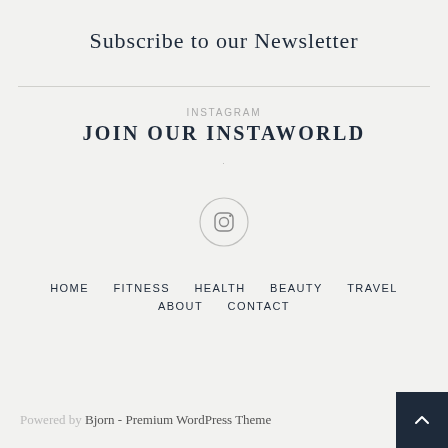Subscribe to our Newsletter
INSTAGRAM
JOIN OUR INSTAWORLD
[Figure (illustration): Instagram icon in a circle]
HOME   FITNESS   HEALTH   BEAUTY   TRAVEL   ABOUT   CONTACT
Powered by Bjorn - Premium WordPress Theme